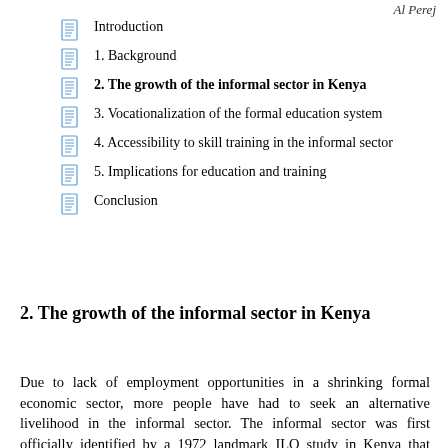Al Perej
Introduction
1. Background
2. The growth of the informal sector in Kenya
3. Vocationalization of the formal education system
4. Accessibility to skill training in the informal sector
5. Implications for education and training
Conclusion
2. The growth of the informal sector in Kenya
Due to lack of employment opportunities in a shrinking formal economic sector, more people have had to seek an alternative livelihood in the informal sector. The informal sector was first officially identified by a 1972 landmark ILO study in Kenya that confirmed the existence of a